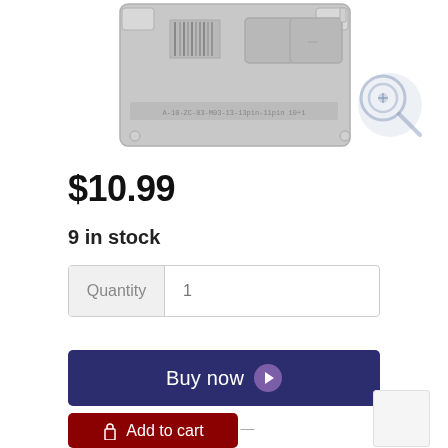[Figure (photo): Gray circuit board / stencil image (product photo), partially visible at the top of the page. A magnifying glass / zoom icon overlay appears at the top-right.]
$10.99
9 in stock
Quantity  1
Buy now
— OR —
Add to cart